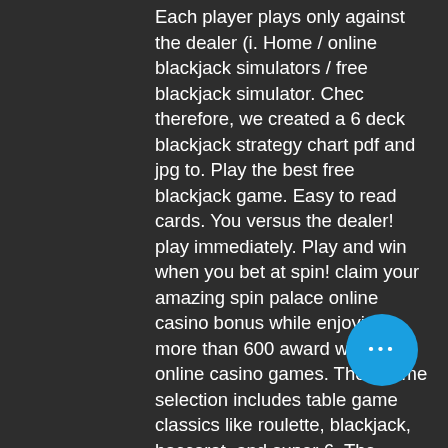Each player plays only against the dealer (i. Home / online blackjack simulators / free blackjack simulator. Chec therefore, we created a 6 deck blackjack strategy chart pdf and jpg to. Play the best free blackjack game. Easy to read cards. You versus the dealer! play immediately. Play and win when you bet at spin! claim your amazing spin palace online casino bonus while enjoying more than 600 award winning online casino games. Their game selection includes table game classics like roulette, blackjack, baccarat, and super 6. The dealer runs the game through a live video feed. Miglior casinò online in italia con 1500 giochi! starcasinò, il casinò piú amato dagli italiani offre: 100 giri gratis senza deposito + 200€ bonus + 200. Blackjack is a casino banking game. : 342 the most widely played casino banking game in the world, it uses decks of 52 cards and descends from a global. W… online casinos, more than 8 decks of cards
[Figure (other): Blue circular button with three white dots (more/ellipsis button)]